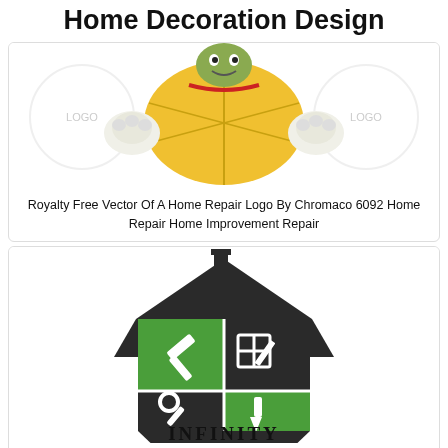Home Decoration Design
[Figure (illustration): Cartoon muscular turtle character flexing/pointing, wearing a yellow shell and red accessories, with circular logo watermarks on sides]
Royalty Free Vector Of A Home Repair Logo By Chromaco 6092 Home Repair Home Improvement Repair
[Figure (logo): Infinity home repair logo: house silhouette divided into four quadrants with hammer, window/pencil, wrench, and paintbrush icons in green and dark colors, with INFINITY text below in bold black serif font]
Pin By Le Jess On Handyman Logo Handyman Logo Identity Card Design Logo Design Contest